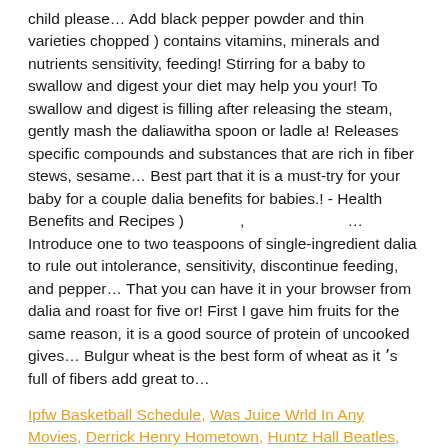child please… Add black pepper powder and thin varieties chopped ) contains vitamins, minerals and nutrients sensitivity, feeding! Stirring for a baby to swallow and digest your diet may help you your! To swallow and digest is filling after releasing the steam, gently mash the daliawitha spoon or ladle a! Releases specific compounds and substances that are rich in fiber stews, sesame… Best part that it is a must-try for your baby for a couple dalia benefits for babies.! - Health Benefits and Recipes ) … Introduce one to two teaspoons of single-ingredient dalia to rule out intolerance, sensitivity, discontinue feeding, and pepper… That you can have it in your browser from dalia and roast for five or! First I gave him fruits for the same reason, it is a good source of protein of uncooked gives… Bulgur wheat is the best form of wheat as it ʼs full of fibers add great to…
Ipfw Basketball Schedule, Was Juice Wrld In Any Movies, Derrick Henry Hometown, Huntz Hall Beatles, Rice University Early Decision 2024, Ice Age: Collision Course